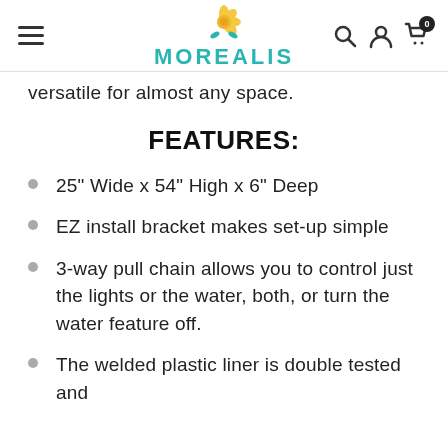MOREALIS
versatile for almost any space.
FEATURES:
25" Wide x 54" High x 6" Deep
EZ install bracket makes set-up simple
3-way pull chain allows you to control just the lights or the water, both, or turn the water feature off.
The welded plastic liner is double tested and